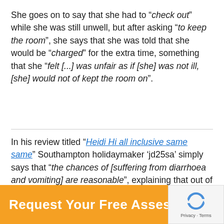She goes on to say that she had to “check out” while she was still unwell, but after asking “to keep the room”, she says that she was told that she would be “charged” for the extra time, something that she “felt [...] was unfair as if [she] was not ill, [she] would not of kept the room on”.
In his review titled “Heidi Hi all inclusive same same” Southampton holidaymaker ‘jd25sa’ simply says that “the chances of [suffering from diarrhoea and vomiting] are reasonable”, explaining that out of his “group of nine” holidaymakers, “five had a day or more
Request Your Free Assessment